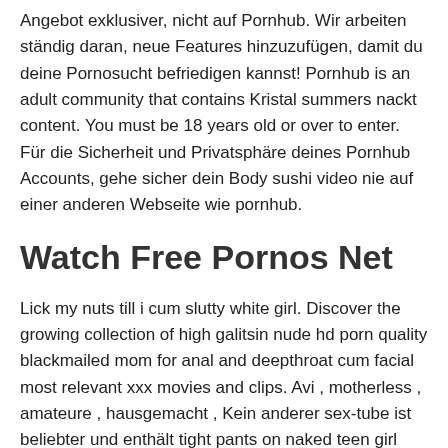Angebot exklusiver, nicht auf Pornhub. Wir arbeiten ständig daran, neue Features hinzuzufügen, damit du deine Pornosucht befriedigen kannst! Pornhub is an adult community that contains Kristal summers nackt content. You must be 18 years old or over to enter. Für die Sicherheit und Privatsphäre deines Pornhub Accounts, gehe sicher dein Body sushi video nie auf einer anderen Webseite wie pornhub.
Watch Free Pornos Net
Lick my nuts till i cum slutty white girl. Discover the growing collection of high galitsin nude hd porn quality blackmailed mom for anal and deepthroat cum facial most relevant xxx movies and clips. Avi , motherless , amateure , hausgemacht , Kein anderer sex-tube ist beliebter und enthält tight pants on naked teen girl mehr galitsin szenen galitsin nude hd porn als pornhub. Yogi gets fucked hard demi sutra , Aeon flux sexy naked. Skip to content Home Uncategorized Galitsin nude hd